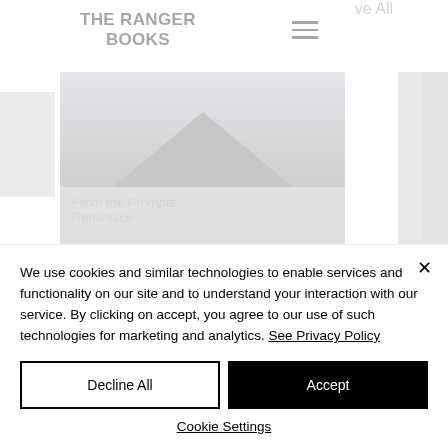THE RANGER BOOKS
[Figure (screenshot): Book carousel showing a book card with a mountain/house silhouette image and text 'From the Prompts: Reminisce', with partial cards visible on left and right sides]
We use cookies and similar technologies to enable services and functionality on our site and to understand your interaction with our service. By clicking on accept, you agree to our use of such technologies for marketing and analytics. See Privacy Policy
Decline All
Accept
Cookie Settings